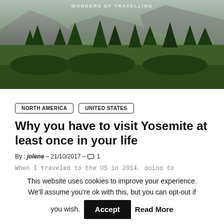[Figure (photo): Hero image of Yosemite National Park showing rocky cliffs, pine trees, and forested hillside with partial overlapping header text visible at the top.]
NORTH AMERICA
UNITED STATES
Why you have to visit Yosemite at least once in your life
By : jolene – 21/10/2017 – 💬1
When I traveled to the US in 2014, going to Yosemite National Park was high up my list. Just
This website uses cookies to improve your experience. We'll assume you're ok with this, but you can opt-out if you wish. Accept Read More